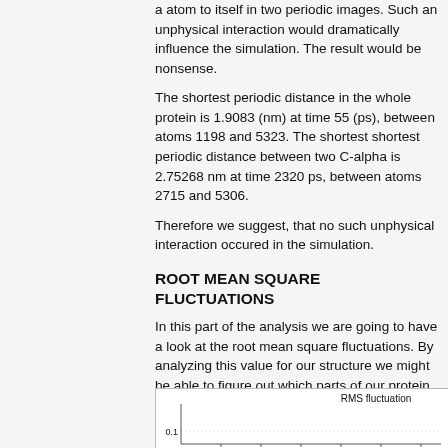a atom to itself in two periodic images. Such an unphysical interaction would dramatically influence the simulation. The result would be nonsense.
The shortest periodic distance in the whole protein is 1.9083 (nm) at time 55 (ps), between atoms 1198 and 5323. The shortest shortest periodic distance between two C-alpha is 2.75268 nm at time 2320 ps, between atoms 2715 and 5306.
Therefore we suggest, that no such unphysical interaction occured in the simulation.
ROOT MEAN SQUARE FLUCTUATIONS
In this part of the analysis we are going to have a look at the root mean square fluctuations. By analyzing this value for our structure we might be able to figure out which parts of our protein are more flexible than others.
[Figure (continuous-plot): RMS fluctuation chart, partially visible at the bottom of the page. Shows a line graph titled 'RMS fluctuation' with y-axis label starting at 0.1.]